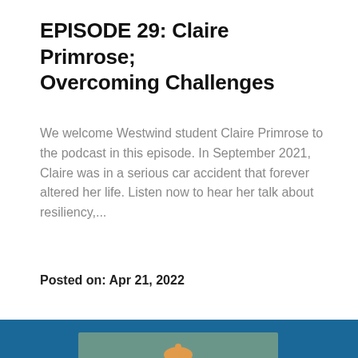EPISODE 29: Claire Primrose; Overcoming Challenges
We welcome Westwind student Claire Primrose to the podcast in this episode. In September 2021, Claire was in a serious car accident that forever altered her life. Listen now to hear her talk about resiliency,...
Posted on: Apr 21, 2022
[Figure (illustration): Podcast cover art showing a microphone icon on a teal/green background, set against a dark blue background]